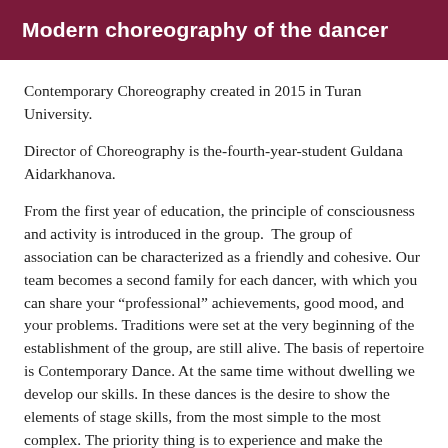Modern choreography of the dancer
Contemporary Choreography created in 2015 in Turan University.
Director of Choreography is the-fourth-year-student Guldana Aidarkhanova.
From the first year of education, the principle of consciousness and activity is introduced in the group.  The group of association can be characterized as a friendly and cohesive. Our team becomes a second family for each dancer, with which you can share your “professional” achievements, good mood, and your problems. Traditions were set at the very beginning of the establishment of the group, are still alive. The basis of repertoire is Contemporary Dance. At the same time without dwelling we develop our skills. In these dances is the desire to show the elements of stage skills, from the most simple to the most complex. The priority thing is to experience and make the audience feel